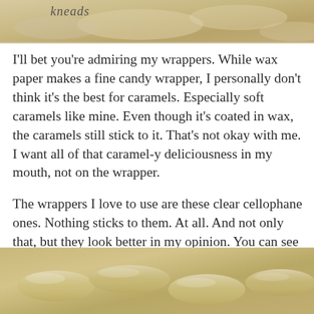[Figure (photo): Top portion of a photo showing caramels wrapped in cellophane on a light background, with the word 'kneads' visible in the upper left corner.]
I'll bet you're admiring my wrappers. While wax paper makes a fine candy wrapper, I personally don't think it's the best for caramels. Especially soft caramels like mine. Even though it's coated in wax, the caramels still stick to it. That's not okay with me. I want all of that caramel-y deliciousness in my mouth, not on the wrapper.
The wrappers I love to use are these clear cellophane ones. Nothing sticks to them. At all. And not only that, but they look better in my opinion. You can see exactly what's inside.
[Figure (photo): Bottom portion of a photo showing individually wrapped caramel candies in clear cellophane wrappers, showing golden-brown caramels inside.]